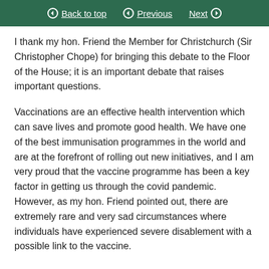Back to top | Previous | Next
I thank my hon. Friend the Member for Christchurch (Sir Christopher Chope) for bringing this debate to the Floor of the House; it is an important debate that raises important questions.
Vaccinations are an effective health intervention which can save lives and promote good health. We have one of the best immunisation programmes in the world and are at the forefront of rolling out new initiatives, and I am very proud that the vaccine programme has been a key factor in getting us through the covid pandemic. However, as my hon. Friend pointed out, there are extremely rare and very sad circumstances where individuals have experienced severe disablement with a possible link to the vaccine.